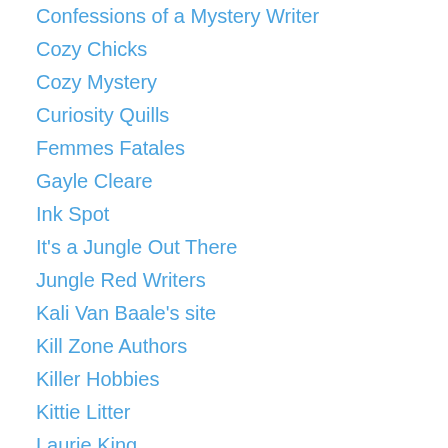Confessions of a Mystery Writer
Cozy Chicks
Cozy Mystery
Curiosity Quills
Femmes Fatales
Gayle Cleare
Ink Spot
It's a Jungle Out There
Jungle Red Writers
Kali Van Baale's site
Kill Zone Authors
Killer Hobbies
Kittie Litter
Laurie King
Louise Penny Blog
Moongazy Girl
Murder by the Book
Murder Express
Murder is Everywhere
Murder Mystery and Mayhem